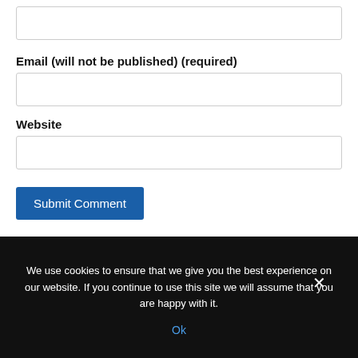Email (will not be published) (required)
Website
Submit Comment
This site uses Akismet to reduce spam. Learn how your comment data is processed.
We use cookies to ensure that we give you the best experience on our website. If you continue to use this site we will assume that you are happy with it.
Ok